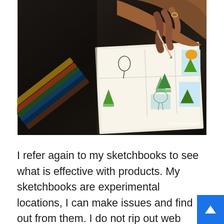[Figure (photo): Overhead photo of hands drawing/sketching in a sketchbook with a brush or pen. Multiple colored pencils are visible on the left side of the dark table surface. The sketchbook shows small illustrated panels with watercolor-style drawings of landscapes and figures. A watermark reads 'JACKSONSART' in the lower right corner.]
I refer again to my sketchbooks to see what is effective with products. My sketchbooks are experimental locations, I can make issues and find out from them. I do not rip out web pages – I like to see the progress, it reminds me that I'm often learning. My extra experimental sketchbooks with